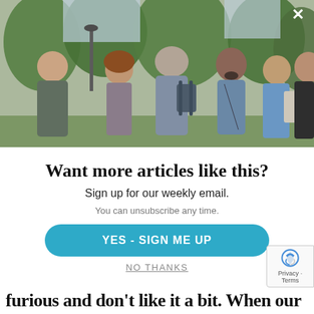[Figure (photo): Group of diverse people talking outdoors in a park setting, with trees in the background. Six adults conversing, one with a backpack and bag.]
Want more articles like this?
Sign up for our weekly email.
You can unsubscribe any time.
YES - SIGN ME UP
NO THANKS
furious and don't like it a bit. When our